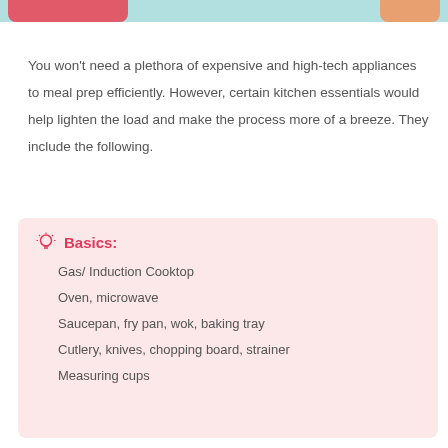You won’t need a plethora of expensive and high-tech appliances to meal prep efficiently. However, certain kitchen essentials would help lighten the load and make the process more of a breeze. They include the following.
Basics:
Gas/ Induction Cooktop
Oven, microwave
Saucepan, fry pan, wok, baking tray
Cutlery, knives, chopping board, strainer
Measuring cups